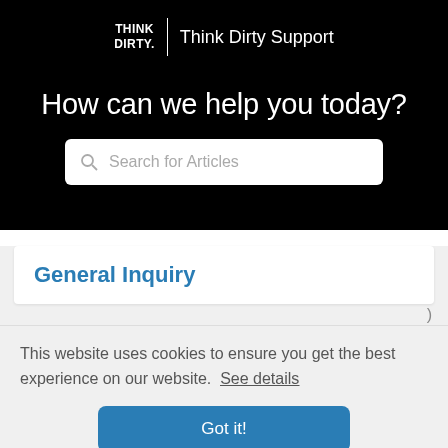THINK DIRTY. | Think Dirty Support
How can we help you today?
General Inquiry
This website uses cookies to ensure you get the best experience on our website. See details
Got it!